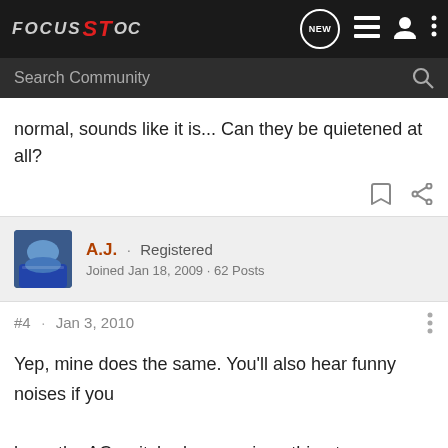FOCUS ST OC
normal, sounds like it is... Can they be quietened at all?
A.J. · Registered
Joined Jan 18, 2009 · 62 Posts
#4 · Jan 3, 2010
Yep, mine does the same. You'll also hear funny noises if you have the AC switched on, again nothing to worry about.